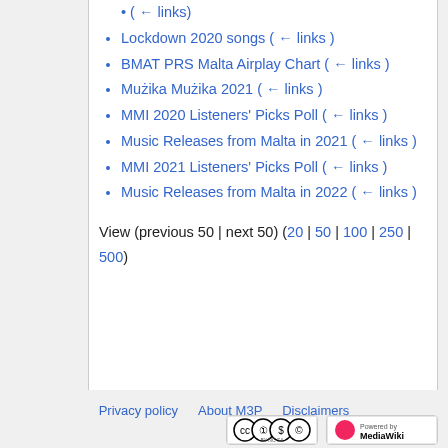( ← links)
Lockdown 2020 songs  ( ← links)
BMAT PRS Malta Airplay Chart  ( ← links)
Mużika Mużika 2021  ( ← links)
MMI 2020 Listeners' Picks Poll  ( ← links)
Music Releases from Malta in 2021  ( ← links)
MMI 2021 Listeners' Picks Poll  ( ← links)
Music Releases from Malta in 2022  ( ← links)
View (previous 50 | next 50) (20 | 50 | 100 | 250 | 500)
Privacy policy   About M3P   Disclaimers